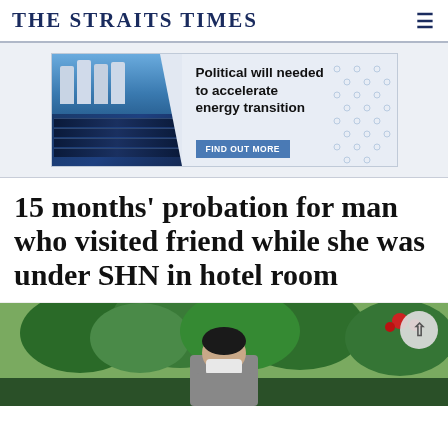THE STRAITS TIMES
[Figure (illustration): Advertisement banner for energy transition article with solar panels image on left and text 'Political will needed to accelerate energy transition' with 'FIND OUT MORE' button on right, hexagonal pattern overlay]
15 months' probation for man who visited friend while she was under SHN in hotel room
[Figure (photo): Outdoor photo of a man wearing a face mask, with green trees and red flowers visible in the background]